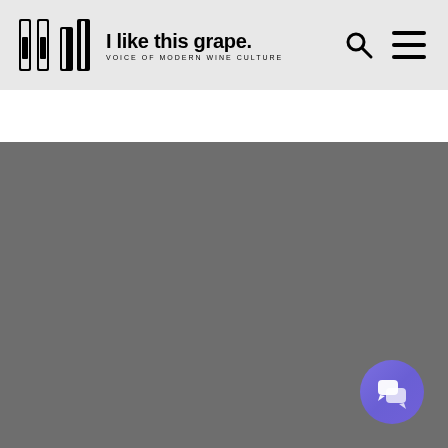I like this grape. VOICE OF MODERN WINE CULTURE
[Figure (screenshot): Gray image/content area placeholder below the navigation header]
[Figure (illustration): Purple circular chat button in bottom right corner]